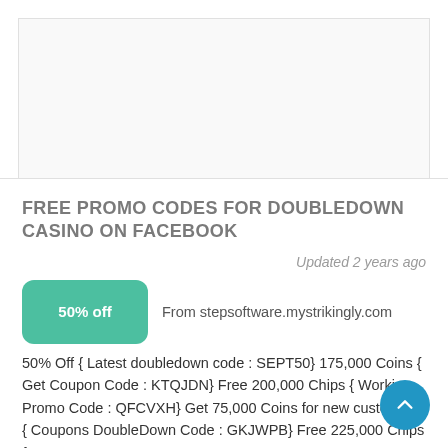[Figure (other): Gray advertisement placeholder box]
FREE PROMO CODES FOR DOUBLEDOWN CASINO ON FACEBOOK
Updated 2 years ago
50% off  From stepsoftware.mystrikingly.com
50% Off { Latest doubledown code : SEPT50} 175,000 Coins { Get Coupon Code : KTQJDN} Free 200,000 Chips { Working Promo Code : QFCVXH} Get 75,000 Coins for new customers { Coupons DoubleDown Code : GKJWPB} Free 225,000 Chips {